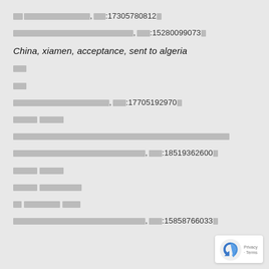[redacted],电话:17305780812。
[redacted],电话:15280099073。
China, xiamen, acceptance, sent to algeria
[redacted]
[redacted]
[redacted],电话:17705192970。
[redacted] [redacted]
[redacted][redacted][redacted][redacted][redacted][redacted][redacted][redacted][redacted][redacted][redacted]
[redacted],电话:18519362600。
[redacted] [redacted]
[redacted] [redacted]
[redacted] [redacted] [redacted]
[redacted],电话:15858766033。